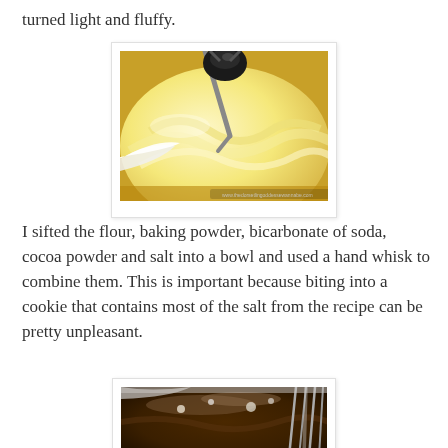turned light and fluffy.
[Figure (photo): Close-up photo of light and fluffy butter being mixed in a white bowl with a stand mixer attachment, showing creamy pale yellow whipped texture.]
I sifted the flour, baking powder, bicarbonate of soda, cocoa powder and salt into a bowl and used a hand whisk to combine them. This is important because biting into a cookie that contains most of the salt from the recipe can be pretty unpleasant.
[Figure (photo): Close-up photo of dark chocolate dry ingredients being whisked in a bowl, showing dark brown cocoa powder mixture with a metal whisk.]